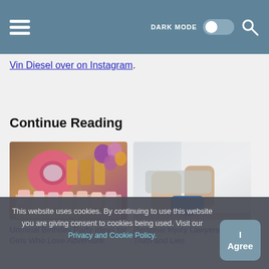Navigation bar with hamburger menu, DARK MODE toggle, and search icon
Vin Diesel over on Instagram.
Continue Reading
[Figure (photo): Birthday party table with a large pink donut balloon spelling ONE, cupcakes, balloons in purple and pink]
Unusual Birthday Party Ideas for Girls Who Love Adventure.
[Figure (photo): Person sitting with legs up wearing a blue cast on one foot, light background]
Personal Injury Lawyers: The Truth and Lies
This website uses cookies. By continuing to use this website you are giving consent to cookies being used. Visit our Privacy and Cookie Policy.